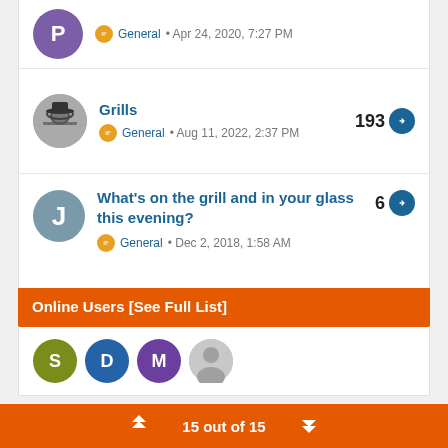General • Apr 24, 2020, 7:27 PM
Grills — 193 — General • Aug 11, 2022, 2:37 PM
What's on the grill and in your glass this evening? — 6 — General • Dec 2, 2018, 1:58 AM
Online Users [See Full List]
[Figure (other): Four user avatar circles: S (olive), D (blue), M (purple), and a gray silhouette]
15 out of 15